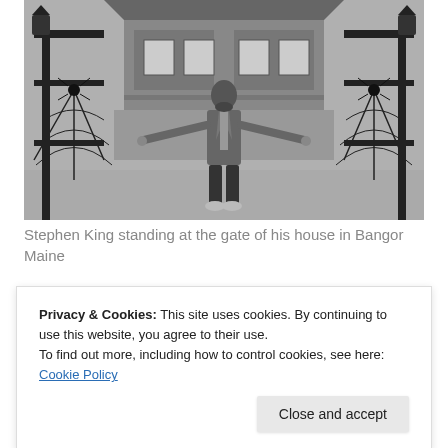[Figure (photo): Black and white photograph of a man (Stephen King) standing at the ornate iron gate of a Victorian house in Bangor, Maine. The gate features spider web and spider designs. The house is visible behind him.]
Stephen King standing at the gate of his house in Bangor Maine
Privacy & Cookies: This site uses cookies. By continuing to use this website, you agree to their use.
To find out more, including how to control cookies, see here: Cookie Policy
[Figure (photo): Partial view of a color photograph showing what appears to be decorative ironwork or fence, partially obscured by the cookie banner.]